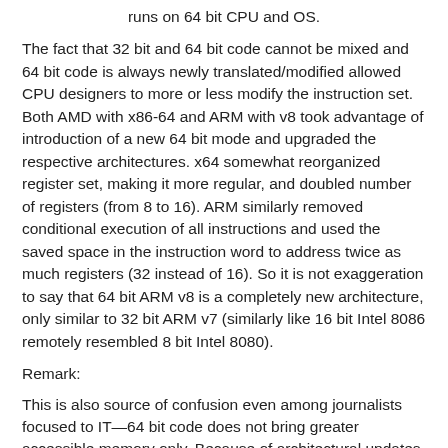runs on 64 bit CPU and OS.
The fact that 32 bit and 64 bit code cannot be mixed and 64 bit code is always newly translated/modified allowed CPU designers to more or less modify the instruction set. Both AMD with x86-64 and ARM with v8 took advantage of introduction of a new 64 bit mode and upgraded the respective architectures. x64 somewhat reorganized register set, making it more regular, and doubled number of registers (from 8 to 16). ARM similarly removed conditional execution of all instructions and used the saved space in the instruction word to address twice as much registers (32 instead of 16). So it is not exaggeration to say that 64 bit ARM v8 is a completely new architecture, only similar to 32 bit ARM v7 (similarly like 16 bit Intel 8086 remotely resembled 8 bit Intel 8080).
Remark:
This is also source of confusion even among journalists focused to IT—64 bit code does not bring greater accessible memory only. Because of architectural updates the code also can run faster even if less that 4 GB memory is used.